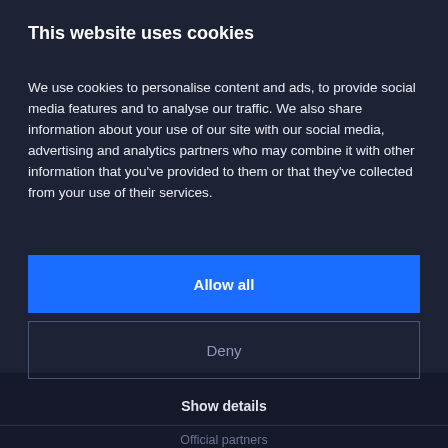This website uses cookies
We use cookies to personalise content and ads, to provide social media features and to analyse our traffic. We also share information about your use of our site with our social media, advertising and analytics partners who may combine it with other information that you've provided to them or that they've collected from your use of their services.
Allow all
Deny
Show details
Official partners
Help Center